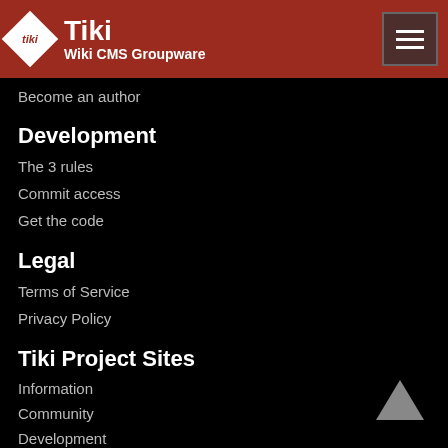Tiki Wiki CMS Groupware
Become an author
Development
The 3 rules
Commit access
Get the code
Legal
Terms of Service
Privacy Policy
Tiki Project Sites
Information
Community
Development
Documentation
Themes
Profiles